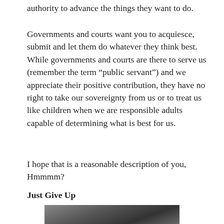authority to advance the things they want to do.
Governments and courts want you to acquiesce, submit and let them do whatever they think best. While governments and courts are there to serve us (remember the term “public servant”) and we appreciate their positive contribution, they have no right to take our sovereignty from us or to treat us like children when we are responsible adults capable of determining what is best for us.
I hope that is a reasonable description of you, Hmmmm?
Just Give Up
[Figure (photo): A black and white photograph of a person, partially visible, dark background]